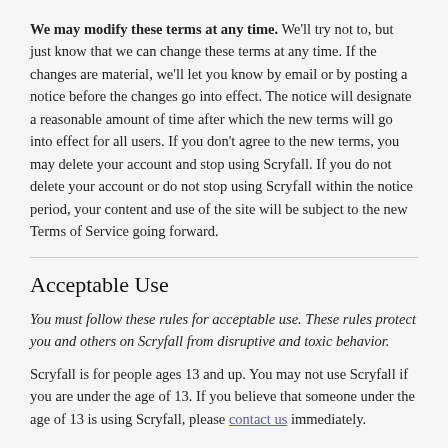We may modify these terms at any time. We'll try not to, but just know that we can change these terms at any time. If the changes are material, we'll let you know by email or by posting a notice before the changes go into effect. The notice will designate a reasonable amount of time after which the new terms will go into effect for all users. If you don't agree to the new terms, you may delete your account and stop using Scryfall. If you do not delete your account or do not stop using Scryfall within the notice period, your content and use of the site will be subject to the new Terms of Service going forward.
Acceptable Use
You must follow these rules for acceptable use. These rules protect you and others on Scryfall from disruptive and toxic behavior.
Scryfall is for people ages 13 and up. You may not use Scryfall if you are under the age of 13. If you believe that someone under the age of 13 is using Scryfall, please contact us immediately.